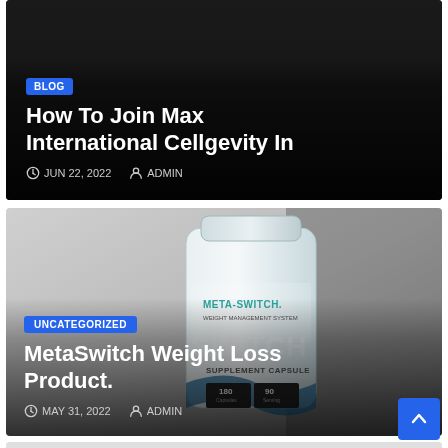[Figure (screenshot): Blog post card with dark background showing title 'How To Join Max International Cellgevity In', dated JUN 22, 2022, by ADMIN]
BLOG
How To Join Max International Cellgevity In
JUN 22, 2022  ADMIN
[Figure (photo): MetaSwitch Weight Management System product bottle - supplement capsule container]
UNCATEGORIZED
MetaSwitch Weight Loss Product.
MAY 31, 2022  ADMIN